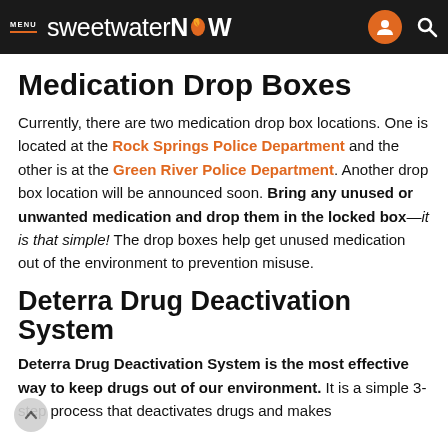MENU sweetwaterNOW
Medication Drop Boxes
Currently, there are two medication drop box locations. One is located at the Rock Springs Police Department and the other is at the Green River Police Department. Another drop box location will be announced soon. Bring any unused or unwanted medication and drop them in the locked box—it is that simple! The drop boxes help get unused medication out of the environment to prevention misuse.
Deterra Drug Deactivation System
Deterra Drug Deactivation System is the most effective way to keep drugs out of our environment. It is a simple 3-step process that deactivates drugs and makes